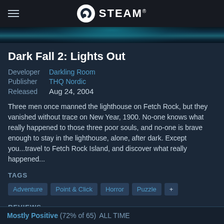STEAM
[Figure (illustration): Teal/dark atmospheric banner strip showing lighthouse or dark scene]
Dark Fall 2: Lights Out
Developer  Darkling Room
Publisher  THQ Nordic
Released   Aug 24, 2004
Three men once manned the lighthouse on Fetch Rock, but they vanished without trace on New Year, 1900. No-one knows what really happened to those three poor souls, and no-one is brave enough to stay in the lighthouse, alone, after dark. Except you...travel to Fetch Rock Island, and discover what really happened...
TAGS
Adventure
Point & Click
Horror
Puzzle
+
REVIEWS
Mostly Positive (72% of 65) ALL TIME